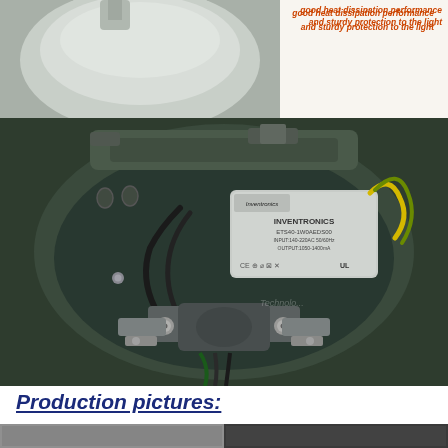[Figure (photo): Top portion of a street light lamp housing exterior, showing curved gray/silver casing. Right side has orange italic text describing heat dissipation and sturdy protection.]
good heat dissipation performance and sturdy protection to the light
[Figure (photo): Interior view of an open LED street light housing showing an Inventronics driver/power supply unit with yellow and green wires, mounting hardware, bolts, and wiring inside a dark gray housing shell.]
Production pictures:
[Figure (photo): Bottom portion showing production pictures - two side by side images partially visible at page bottom.]